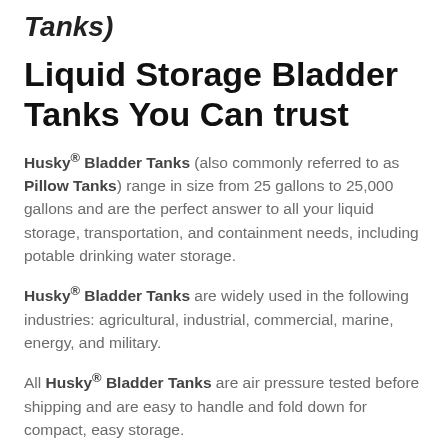Tanks)
Liquid Storage Bladder Tanks You Can trust
Husky® Bladder Tanks (also commonly referred to as Pillow Tanks) range in size from 25 gallons to 25,000 gallons and are the perfect answer to all your liquid storage, transportation, and containment needs, including potable drinking water storage.
Husky® Bladder Tanks are widely used in the following industries: agricultural, industrial, commercial, marine, energy, and military.
All Husky® Bladder Tanks are air pressure tested before shipping and are easy to handle and fold down for compact, easy storage.
Multiple Uses!